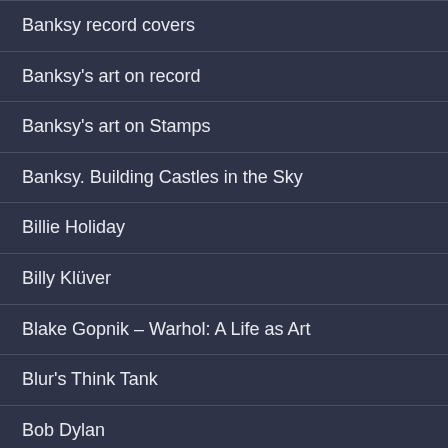Banksy record covers
Banksy's art on record
Banksy's art on Stamps
Banksy. Building Castles in the Sky
Billie Holiday
Billy Klüver
Blake Gopnik – Warhol: A Life as Art
Blur's Think Tank
Bob Dylan
Bob Dylan's discography
Bootlegs
Brian Wilson – That Lucky Old Sun